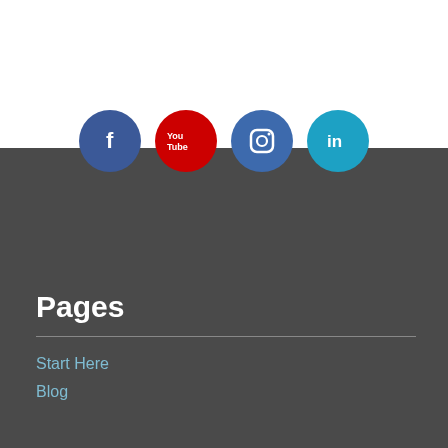[Figure (infographic): Four circular social media icons: Facebook (dark blue with 'f'), YouTube (red with 'You Tube' text), Instagram (blue with camera icon), LinkedIn (teal with 'in')]
Pages
Start Here
Blog